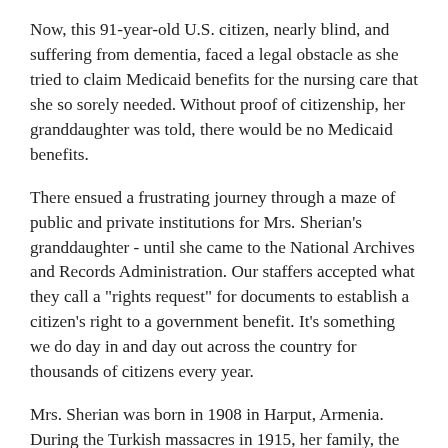Now, this 91-year-old U.S. citizen, nearly blind, and suffering from dementia, faced a legal obstacle as she tried to claim Medicaid benefits for the nursing care that she so sorely needed. Without proof of citizenship, her granddaughter was told, there would be no Medicaid benefits.
There ensued a frustrating journey through a maze of public and private institutions for Mrs. Sherian's granddaughter - until she came to the National Archives and Records Administration. Our staffers accepted what they call a "rights request" for documents to establish a citizen's right to a government benefit. It's something we do day in and day out across the country for thousands of citizens every year.
Mrs. Sherian was born in 1908 in Harput, Armenia. During the Turkish massacres in 1915, her family, the Harootunians, escaped to France, then settled in Fresno, CA. When Mrs. Sherian's husband died, many of her papers, including her cherished naturalization certificate, were lost. When her granddaughter, Lusya Schinelli, began looking for government aid to pay for care in an assisted-living facility,